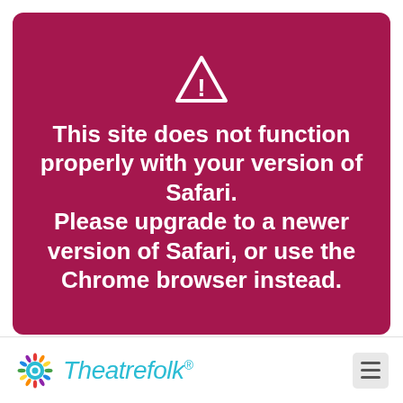[Figure (screenshot): Browser compatibility warning card on a crimson/dark pink background with a white triangle warning icon at top, followed by bold white text.]
This site does not function properly with your version of Safari. Please upgrade to a newer version of Safari, or use the Chrome browser instead.
[Figure (logo): Theatrefolk logo with colorful mandala/sunburst icon and teal italic text 'Theatrefolk' with registered trademark symbol.]